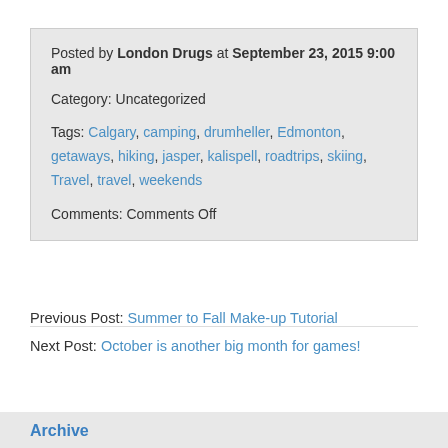Posted by London Drugs at September 23, 2015 9:00 am
Category: Uncategorized
Tags: Calgary, camping, drumheller, Edmonton, getaways, hiking, jasper, kalispell, roadtrips, skiing, Travel, travel, weekends
Comments: Comments Off
Previous Post: Summer to Fall Make-up Tutorial
Next Post: October is another big month for games!
Archive